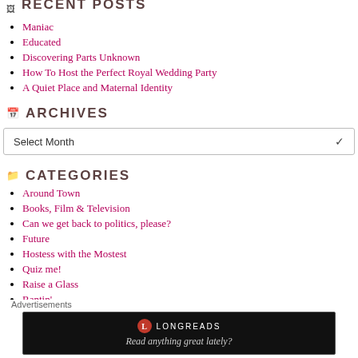RECENT POSTS
Maniac
Educated
Discovering Parts Unknown
How To Host the Perfect Royal Wedding Party
A Quiet Place and Maternal Identity
ARCHIVES
Select Month
CATEGORIES
Around Town
Books, Film & Television
Can we get back to politics, please?
Future
Hostess with the Mostest
Quiz me!
Raise a Glass
Rantin'
Advertisements
LONGREADS — Read anything great lately?